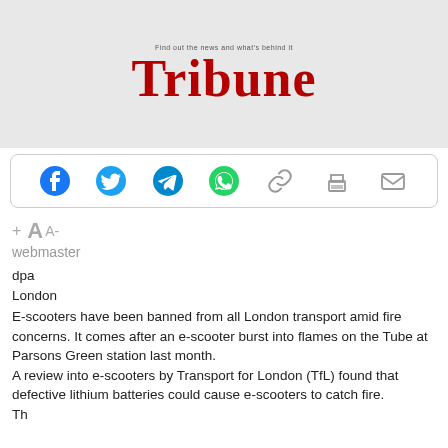[Figure (logo): Tribune newspaper logo in dark red/crimson bold serif font with tagline 'Find out the news and what's behind it' on grey background]
[Figure (infographic): Social media share bar with icons: Facebook (blue circle), Twitter (blue bird), Telegram (blue paper plane), WhatsApp (green phone), link/chain, print, email]
+ A A-
webmaster
dpa
London
E-scooters have been banned from all London transport amid fire concerns. It comes after an e-scooter burst into flames on the Tube at Parsons Green station last month.
A review into e-scooters by Transport for London (TfL) found that defective lithium batteries could cause e-scooters to catch fire.
The could likely fire e-scooters as the Tu...